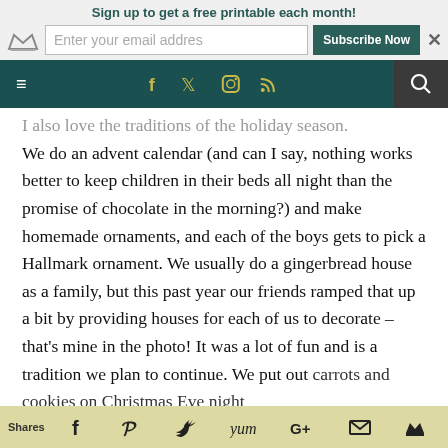Sign up to get a free printable each month!
[Figure (screenshot): Website navigation bar with hamburger menu, social icons (Facebook, Twitter, Instagram, RSS), and search button on dark teal background]
I also love the traditions of the holiday season. We do an advent calendar (and can I say, nothing works better to keep children in their beds all night than the promise of chocolate in the morning?) and make homemade ornaments, and each of the boys gets to pick a Hallmark ornament. We usually do a gingerbread house as a family, but this past year our friends ramped that up a bit by providing houses for each of us to decorate – that's mine in the photo! It was a lot of fun and is a tradition we plan to continue. We put out carrots and cookies on Christmas Eve night
Shares  [Facebook] [Pinterest] [Twitter] [Yum] [Google+] [Email] [Crown]